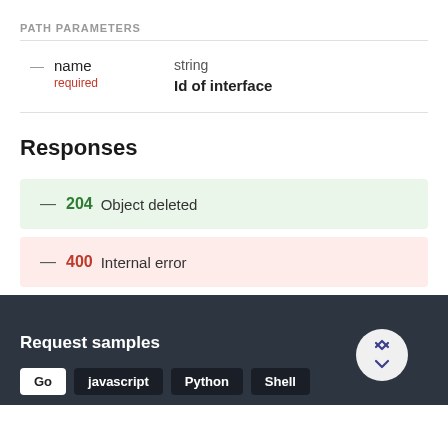PATH PARAMETERS
| name | type | description |
| --- | --- | --- |
| name
required | string | Id of interface |
Responses
— 204 Object deleted
— 400 Internal error
Request samples